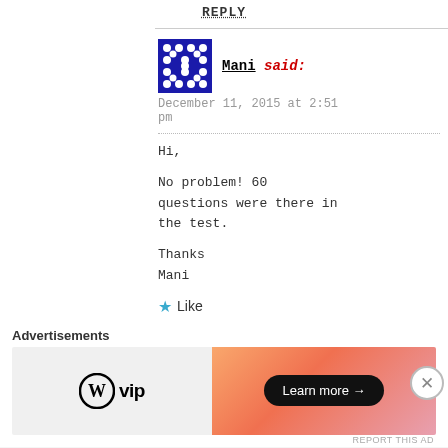REPLY
Mani said:
December 11, 2015 at 2:51 pm
Hi,

No problem! 60 questions were there in the test.

Thanks
Mani
Like
Advertisements
[Figure (other): WordPress VIP advertisement banner with 'Learn more' button]
REPORT THIS AD
Advertisements